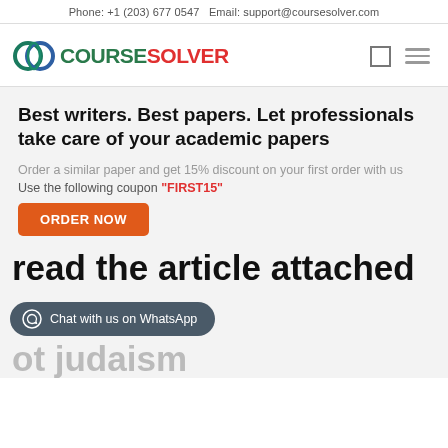Phone: +1 (203) 677 0547 Email: support@coursesolver.com
[Figure (logo): CourseSolver logo with teal/green circular icon and green 'COURSE' and red 'SOLVER' text]
Best writers. Best papers. Let professionals take care of your academic papers
Order a similar paper and get 15% discount on your first order with us
Use the following coupon "FIRST15"
ORDER NOW
read the article attached below about judaism masculinity and feminism